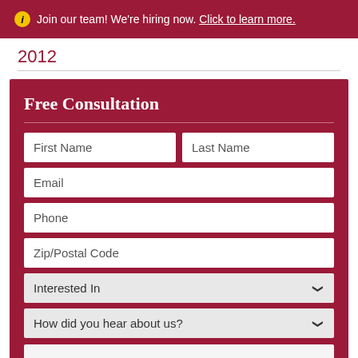Join our team! We're hiring now. Click to learn more.
2012
Free Consultation
First Name
Last Name
Email
Phone
Zip/Postal Code
Interested In
How did you hear about us?
I'm not a robot